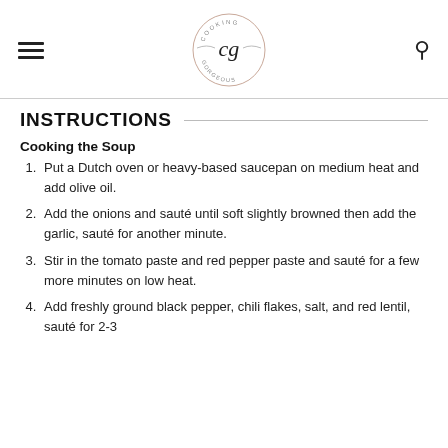Cooking Gorgeous - CG logo header with hamburger menu and search icon
INSTRUCTIONS
Cooking the Soup
Put a Dutch oven or heavy-based saucepan on medium heat and add olive oil.
Add the onions and sauté until soft slightly browned then add the garlic, sauté for another minute.
Stir in the tomato paste and red pepper paste and sauté for a few more minutes on low heat.
Add freshly ground black pepper, chili flakes, salt, and red lentil, sauté for 2-3...